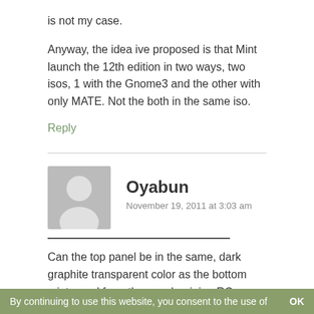is not my case.
Anyway, the idea ive proposed is that Mint launch the 12th edition in two ways, two isos, 1 with the Gnome3 and the other with only MATE. Not the both in the same iso.
Reply
Oyabun
November 19, 2011 at 3:03 am
Can the top panel be in the same, dark graphite transparent color as the bottom mint panel from the very begining RC release?
By continuing to use this website, you consent to the use of   OK